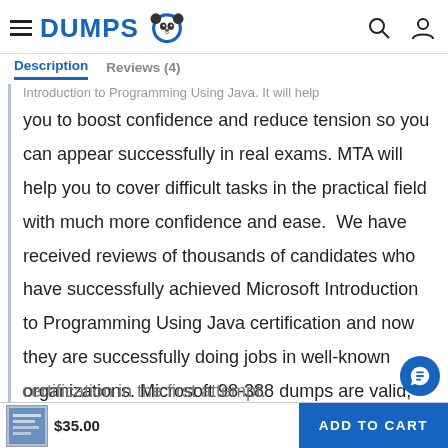DUMPS [logo] | Search | Account
Description   Reviews (4)
Introduction to Programming Using Java. It will help you to boost confidence and reduce tension so you can appear successfully in real exams. MTA will help you to cover difficult tasks in the practical field with much more confidence and ease.  We have received reviews of thousands of candidates who have successfully achieved Microsoft Introduction to Programming Using Java certification and now they are successfully doing jobs in well-known organizations. Microsoft 98-388 dumps are valid, reliable and straightforward. It provides accurate and authentic Microsoft 98-388 exam dumps that save time and money to achieve 98-388 exam certification in the first attempt.
$35.00   ADD TO CART